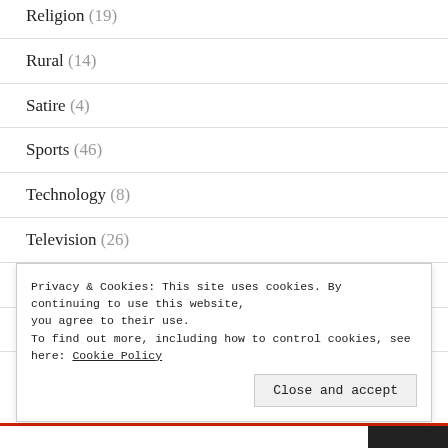Religion (19)
Rural (14)
Satire (4)
Sports (46)
Technology (8)
Television (26)
Transportation (10)
Travel (2)
Privacy & Cookies: This site uses cookies. By continuing to use this website, you agree to their use. To find out more, including how to control cookies, see here: Cookie Policy
Close and accept